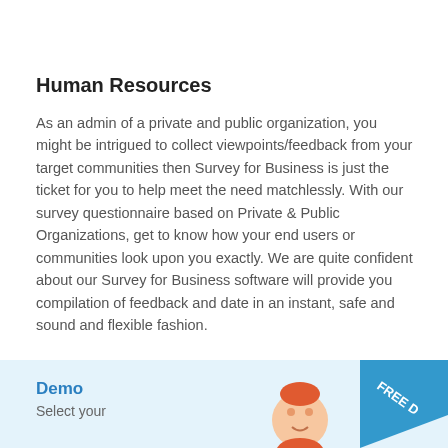Human Resources
As an admin of a private and public organization, you might be intrigued to collect viewpoints/feedback from your target communities then Survey for Business is just the ticket for you to help meet the need matchlessly. With our survey questionnaire based on Private & Public Organizations, get to know how your end users or communities look upon you exactly. We are quite confident about our Survey for Business software will provide you compilation of feedback and date in an instant, safe and sound and flexible fashion.
[Figure (illustration): Demo promotional box with light blue background showing a Demo label, 'Select your' subtitle text, illustrated figure/avatar, and a blue ribbon/banner with 'FREE D...' text visible at the bottom of the page.]